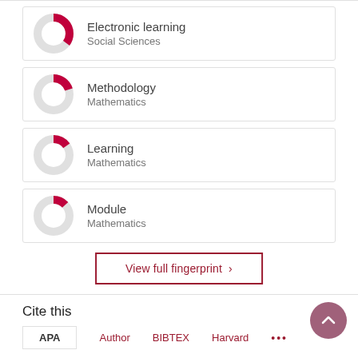[Figure (donut-chart): Donut chart icon for Electronic learning, approximately 60% filled in crimson/red]
Electronic learning
Social Sciences
[Figure (donut-chart): Donut chart icon for Methodology, approximately 45% filled in crimson/red]
Methodology
Mathematics
[Figure (donut-chart): Donut chart icon for Learning, approximately 40% filled in crimson/red]
Learning
Mathematics
[Figure (donut-chart): Donut chart icon for Module, approximately 38% filled in crimson/red]
Module
Mathematics
View full fingerprint ›
Cite this
APA   Author   BIBTEX   Harvard   ...